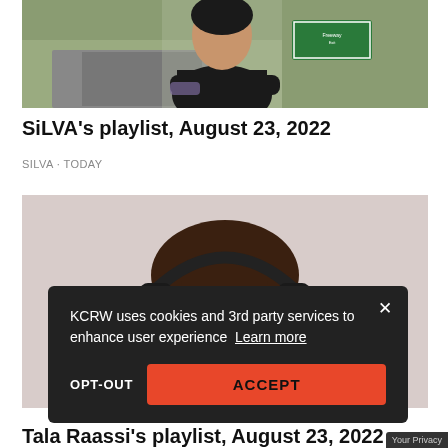[Figure (photo): Woman in black outfit standing in front of a highway with cars and a green highway sign]
SiLVA's playlist, August 23, 2022
SILVA · TODAY
[Figure (photo): Woman wearing headphones, smiling, partially cropped]
KCRW uses cookies and 3rd party services to enhance user experience Learn more
OPT-OUT
ACCEPT
Your Privacy
Tala Raassi's playlist, August 23, 2022